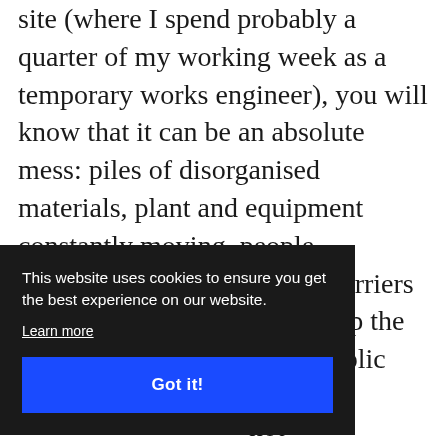site (where I spend probably a quarter of my working week as a temporary works engineer), you will know that it can be an absolute mess: piles of disorganised materials, plant and equipment constantly moving, people everywhere, rough ground, barriers and fences everywhere to keep the workers safe and keep the public to
This website uses cookies to ensure you get the best experience on our website.
Learn more
Got it!
is a not suited to current AR technology, including